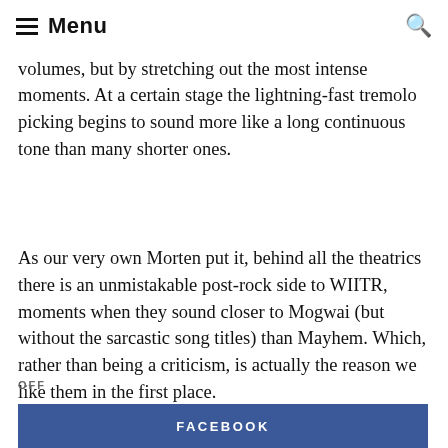Menu
lse that focus attention, are created not by slower tempos or lower volumes, but by stretching out the most intense moments. At a certain stage the lightning-fast tremolo picking begins to sound more like a long continuous tone than many shorter ones.
As our very own Morten put it, behind all the theatrics there is an unmistakable post-rock side to WIITR, moments when they sound closer to Mogwai (but without the sarcastic song titles) than Mayhem. Which, rather than being a criticism, is actually the reason we like them in the first place.
OFF
FACEBOOK